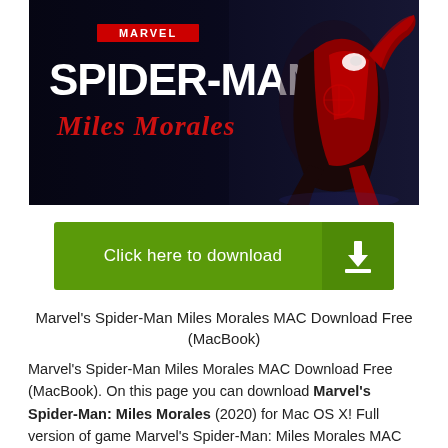[Figure (illustration): Marvel's Spider-Man Miles Morales game cover art showing the title logo on dark background with Miles Morales in his Spider-Man suit on the right side]
[Figure (infographic): Green download button reading 'Click here to download' with a download icon on the right side]
Marvel's Spider-Man Miles Morales MAC Download Free (MacBook)
Marvel's Spider-Man Miles Morales MAC Download Free (MacBook). On this page you can download Marvel's Spider-Man: Miles Morales (2020) for Mac OS X! Full version of game Marvel's Spider-Man: Miles Morales MAC Download Free...